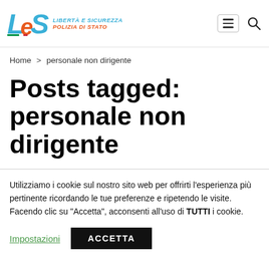[Figure (logo): LES logo — stylized letters L, e, S in blue and red with Italian flag motif, next to text 'LIBERTÀ E SICUREZZA / POLIZIA DI STATO']
Home > personale non dirigente
Posts tagged: personale non dirigente
Utilizziamo i cookie sul nostro sito web per offrirti l'esperienza più pertinente ricordando le tue preferenze e ripetendo le visite. Facendo clic su "Accetta", acconsenti all'uso di TUTTI i cookie.
Impostazioni   ACCETTA